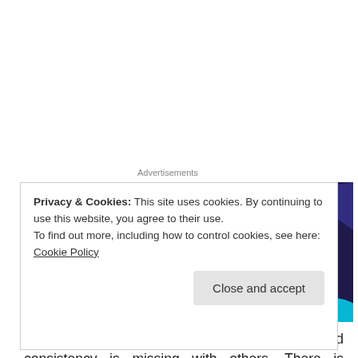Advertisements
[Figure (illustration): WooCommerce advertisement banner with purple background showing the WooCommerce logo and text 'Turn your hobby into']
St.Barnum adds – This degree of continuity and consistency is missing with others. There is something
Privacy & Cookies: This site uses cookies. By continuing to use this website, you agree to their use.
To find out more, including how to control cookies, see here: Cookie Policy
Close and accept